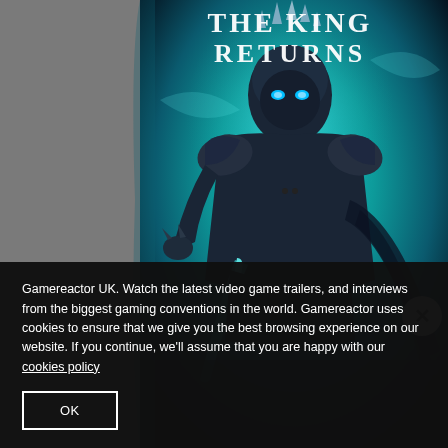[Figure (illustration): World of Warcraft game artwork showing the Lich King armored figure in dark fantasy armor with glowing blue eyes, holding a sword, against a teal/blue mystical background. Text at top reads 'THE KING RETURNS' in large white serif letters.]
Gamereactor UK. Watch the latest video game trailers, and interviews from the biggest gaming conventions in the world. Gamereactor uses cookies to ensure that we give you the best browsing experience on our website. If you continue, we'll assume that you are happy with our cookies policy
OK